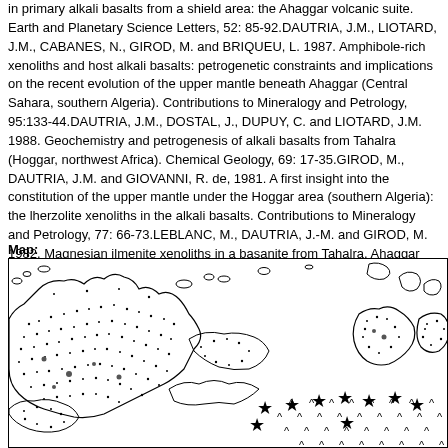in primary alkali basalts from a shield area: the Ahaggar volcanic suite. Earth and Planetary Science Letters, 52: 85-92.DAUTRIA, J.M., LIOTARD, J.M., CABANES, N., GIROD, M. and BRIQUEU, L. 1987. Amphibole-rich xenoliths and host alkali basalts: petrogenetic constraints and implications on the recent evolution of the upper mantle beneath Ahaggar (Central Sahara, southern Algeria). Contributions to Mineralogy and Petrology, 95:133-44.DAUTRIA, J.M., DOSTAL, J., DUPUY, C. and LIOTARD, J.M. 1988. Geochemistry and petrogenesis of alkali basalts from Tahalra (Hoggar, northwest Africa). Chemical Geology, 69: 17-35.GIROD, M., DAUTRIA, J.M. and GIOVANNI, R. de, 1981. A first insight into the constitution of the upper mantle under the Hoggar area (southern Algeria): the lherzolite xenoliths in the alkali basalts. Contributions to Mineralogy and Petrology, 77: 66-73.LEBLANC, M., DAUTRIA, J.-M. and GIROD, M. 1982. Magnesian ilmenite xenoliths in a basanite from Tahalra, Ahaggar (Southern Algeria). Contributions to Mineralogy and Petrology, 79: 347-354
Map:
[Figure (map): Geological or volcanic map showing dotted/stippled regions representing volcanic fields, with star symbols marking specific locations and caret symbols (^) indicating mountain/highland areas. Black outlined irregular shapes show volcanic deposits and terrain features.]